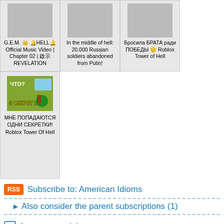[Figure (screenshot): Grid of video thumbnails with titles. Top row: G.E.M. 👑 🔔HELL🔔Official Music Video | Chapter 02 | 啟示 REVELATION; In the middle of hell: 20.000 Russian soldiers abandoned from Putin!; Бросила БРАТА ради ПОБЕДЫ 😔 Roblox Tower of Hell. Bottom row: МНЕ ПОПАДАЮТСЯ ОДНИ СЕКРЕТКИ! Roblox Tower Of Hell]
Subscribe to: American Idioms
► Also consider the parent subscriptions (1)
Leave my opinion